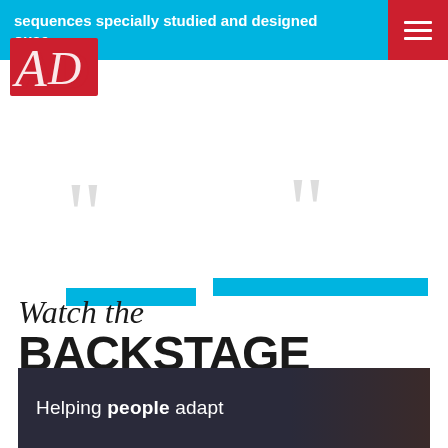sequences specially studied and designed ouse.
[Figure (logo): AD logo in red with stylized letters]
[Figure (other): Hamburger menu button on red background]
[Figure (other): Two large quotation mark icons in light gray with cyan horizontal bars beneath them]
Watch the BACKSTAGE
[Figure (photo): Dark photo of a person with text overlay: Helping people adapt]